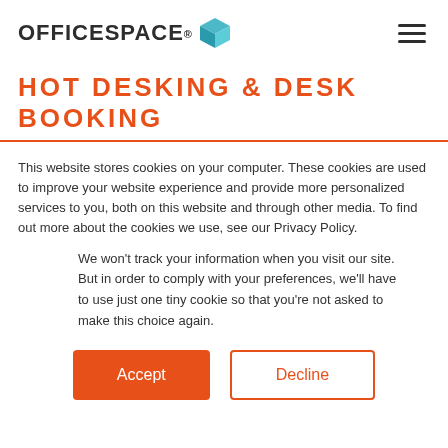OFFICESPACE. [logo icon] [hamburger menu]
HOT DESKING & DESK BOOKING
This website stores cookies on your computer. These cookies are used to improve your website experience and provide more personalized services to you, both on this website and through other media. To find out more about the cookies we use, see our Privacy Policy.
We won't track your information when you visit our site. But in order to comply with your preferences, we'll have to use just one tiny cookie so that you're not asked to make this choice again.
Accept | Decline